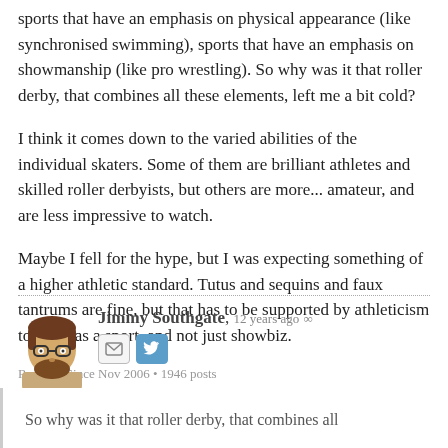sports that have an emphasis on physical appearance (like synchronised swimming), sports that have an emphasis on showmanship (like pro wrestling). So why was it that roller derby, that combines all these elements, left me a bit cold?
I think it comes down to the varied abilities of the individual skaters. Some of them are brilliant athletes and skilled roller derbyists, but others are more... amateur, and are less impressive to watch.
Maybe I fell for the hype, but I was expecting something of a higher athletic standard. Tutus and sequins and faux tantrums are fine, but that has to be supported by athleticism to work as a sport, and not just showbiz.
Raglan • Since Nov 2006 • 1946 posts
↩ Reply
Jimmy Southgate, 12 years ago ∞
So why was it that roller derby, that combines all